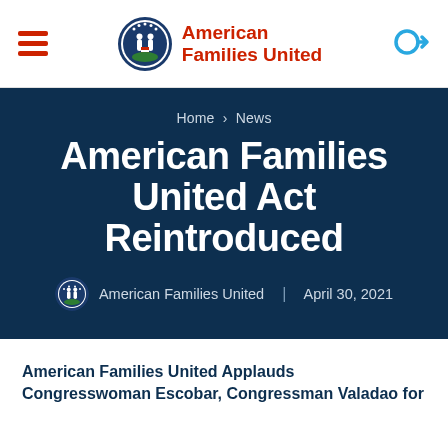American Families United
Home > News
American Families United Act Reintroduced
American Families United | April 30, 2021
American Families United Applauds Congresswoman Escobar, Congressman Valadao for